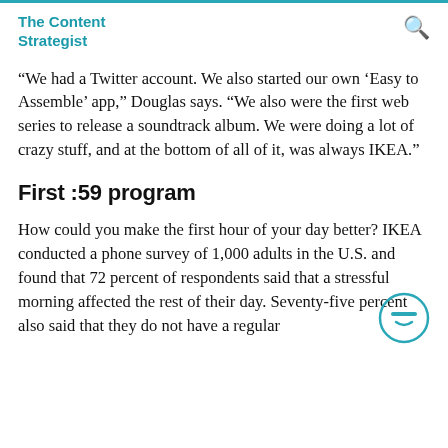The Content Strategist
“We had a Twitter account. We also started our own ‘Easy to Assemble’ app,” Douglas says. “We also were the first web series to release a soundtrack album. We were doing a lot of crazy stuff, and at the bottom of all of it, was always IKEA.”
First :59 program
How could you make the first hour of your day better? IKEA conducted a phone survey of 1,000 adults in the U.S. and found that 72 percent of respondents said that a stressful morning affected the rest of their day. Seventy-five percent also said that they do not have a regular